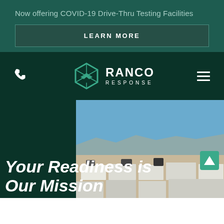Now offering COVID-19 Drive-Thru Testing Facilities
LEARN MORE
[Figure (logo): Ranco Response logo with hexagon icon and phone icon and hamburger menu]
[Figure (photo): Aerial or ground-level photo of an outdoor facility with trailers/modular units in a desert landscape under a blue sky]
Your Readiness is Our Mission